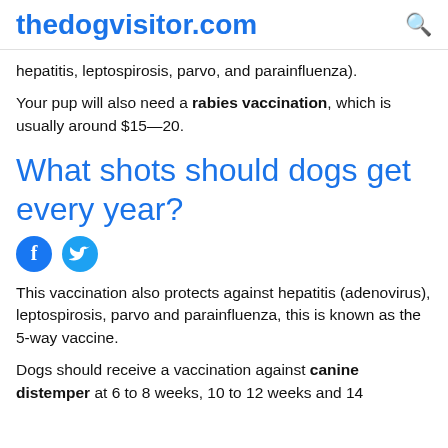thedogvisitor.com
hepatitis, leptospirosis, parvo, and parainfluenza).
Your pup will also need a rabies vaccination, which is usually around $15—20.
What shots should dogs get every year?
[Figure (other): Facebook and Twitter social share icons]
This vaccination also protects against hepatitis (adenovirus), leptospirosis, parvo and parainfluenza, this is known as the 5-way vaccine.
Dogs should receive a vaccination against canine distemper at 6 to 8 weeks, 10 to 12 weeks and 14